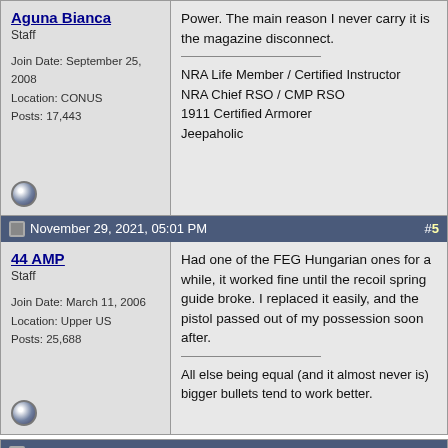Aguna Bianca - Staff - Join Date: September 25, 2008 - Location: CONUS - Posts: 17,443
Power. The main reason I never carry it is the magazine disconnect.

NRA Life Member / Certified Instructor
NRA Chief RSO / CMP RSO
1911 Certified Armorer
Jeepaholic
November 29, 2021, 05:01 PM  #5
44 AMP - Staff - Join Date: March 11, 2006 - Location: Upper US - Posts: 25,688
Had one of the FEG Hungarian ones for a while, it worked fine until the recoil spring guide broke. I replaced it easily, and the pistol passed out of my possession soon after.

All else being equal (and it almost never is) bigger bullets tend to work better.
November 29, 2021, 06:18 PM  #6
gonzogeezer
Quote: